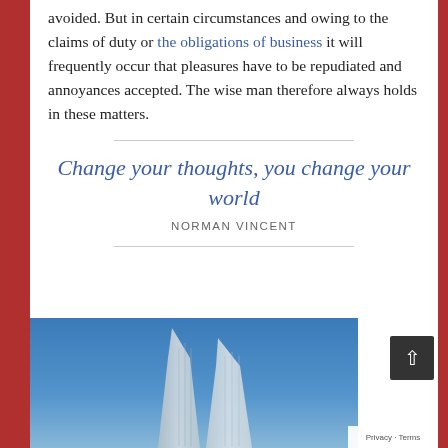avoided. But in certain circumstances and owing to the claims of duty or the obligations of business it will frequently occur that pleasures have to be repudiated and annoyances accepted. The wise man therefore always holds in these matters.
Change your thoughts, you change your world
NORMAN VINCENT
[Figure (photo): Photo of tall pointed modern glass skyscraper towers against a blue sky, partially visible at bottom of page]